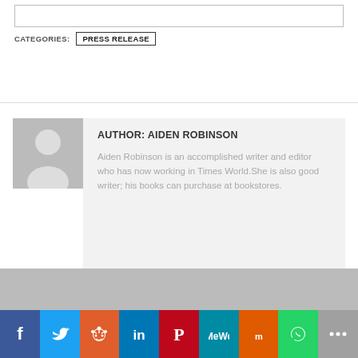CATEGORIES: PRESS RELEASE
AUTHOR: AIDEN ROBINSON
Aiden Robinson is an accomplished writer and editor who has now working in Times World.She is also good writer; his books can purchase at bookstores.
[Figure (infographic): Social sharing bar with icons for Facebook, Twitter, Reddit, LinkedIn, Pinterest, MeWe, Mix, WhatsApp, and More]